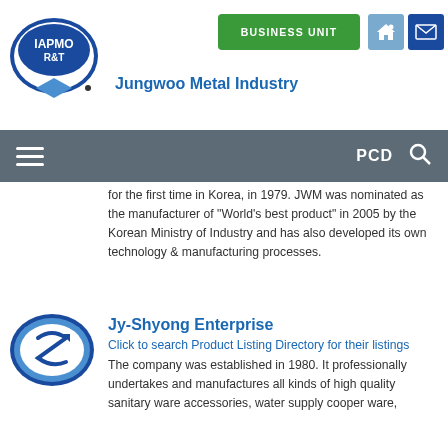[Figure (logo): IAPMO R&T logo — oval blue badge with text IAPMO R&T]
Jungwoo Metal Industry
[Figure (other): BUSINESS UNIT green button, home icon, mail icon]
[Figure (screenshot): Gray navigation bar with hamburger menu, PCD label, and search icon]
for the first time in Korea, in 1979. JWM was nominated as the manufacturer of “World’s best product” in 2005 by the Korean Ministry of Industry and has also developed its own technology & manufacturing processes.
Click to search Product Listing Directory for their listings
[Figure (logo): Jy-Shyong Enterprise logo — oval shape with stylized arrow/S symbol]
Jy-Shyong Enterprise
The company was established in 1980. It professionally undertakes and manufactures all kinds of high quality sanitary ware accessories, water supply cooper ware,